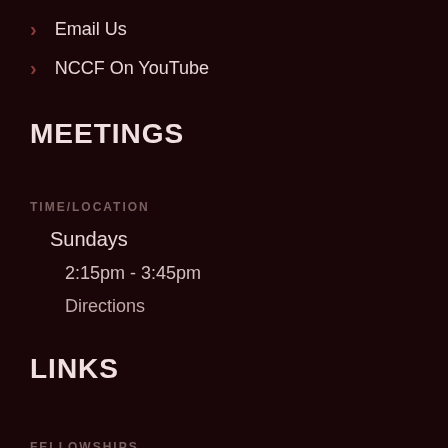> Email Us
> NCCF On YouTube
MEETINGS
TIME/LOCATION
Sundays
2:15pm - 3:45pm
Directions
LINKS
FELLOWSHIPS
> GfoIndia.com